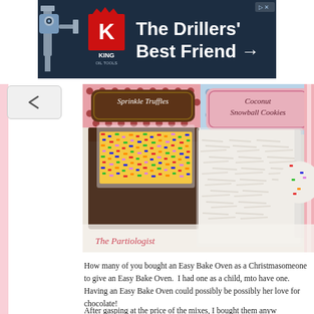[Figure (other): Advertisement banner for King Oil Tools - 'The Drillers' Best Friend' with dark blue/navy background, King logo, and drilling equipment image]
[Figure (photo): Photo showing baking kits labeled 'Sprinkle Truffles' and 'Coconut Snowball Cookies' with plastic bags containing colorful sprinkles, shredded coconut, and chocolate, with text 'The Partiologist' at the bottom]
How many of you bought an Easy Bake Oven as a Christmas gift for someone to give an Easy Bake Oven.  I had one as a child, to have one.  Having an Easy Bake Oven could possibly be possibly her love for chocolate!
After gasping at the price of the mixes, I bought them anyw